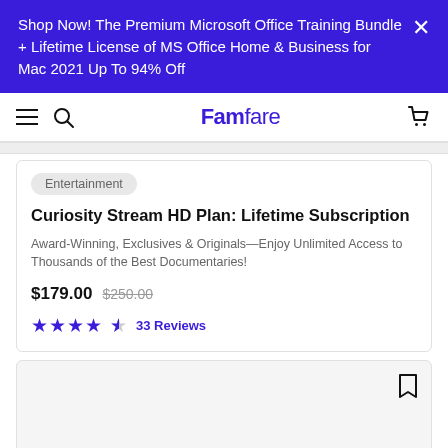Shop Now! The Premium Microsoft Office Training Bundle + Lifetime License of MS Office Home & Business for Mac 2021 Up To 94% Off
Famfare
Entertainment
Curiosity Stream HD Plan: Lifetime Subscription
Award-Winning, Exclusives & Originals—Enjoy Unlimited Access to Thousands of the Best Documentaries!
$179.00 $250.00
33 Reviews